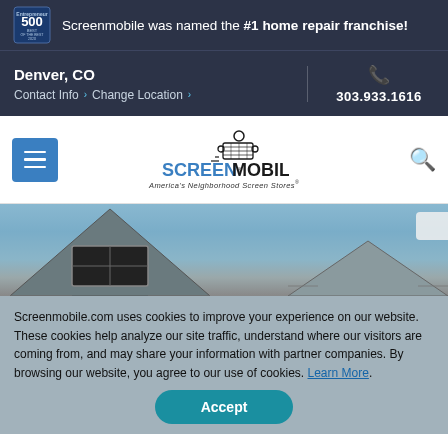Screenmobile was named the #1 home repair franchise!
Denver, CO
Contact Info › Change Location › 303.933.1616
[Figure (logo): Screenmobile logo with screen roll mascot character, text SCREENMOBILE and tagline America's Neighborhood Screen Stores.]
[Figure (photo): Exterior photo of house rooftop with triangular gable windows against a blue sky]
Screenmobile.com uses cookies to improve your experience on our website. These cookies help analyze our site traffic, understand where our visitors are coming from, and may share your information with partner companies. By browsing our website, you agree to our use of cookies. Learn More.
Accept